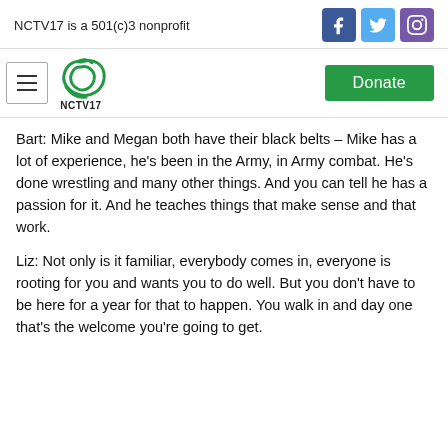NCTV17 is a 501(c)3 nonprofit
[Figure (logo): NCTV17 logo with green icon and hamburger menu, plus Donate button]
Bart: Mike and Megan both have their black belts – Mike has a lot of experience, he's been in the Army, in Army combat. He's done wrestling and many other things. And you can tell he has a passion for it. And he teaches things that make sense and that work.
Liz: Not only is it familiar, everybody comes in, everyone is rooting for you and wants you to do well. But you don't have to be here for a year for that to happen. You walk in and day one that's the welcome you're going to get.